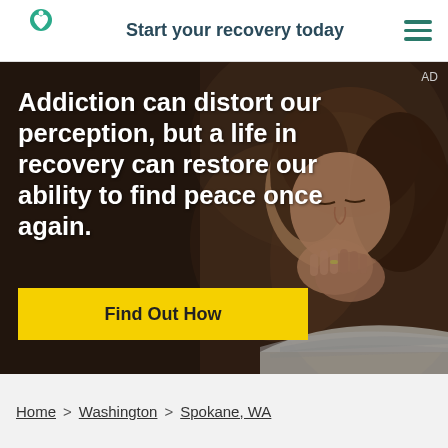Start your recovery today
[Figure (photo): Young woman with hands clasped in prayer pose, eyes closed, against a dark blurred background. Text overlay reads: Addiction can distort our perception, but a life in recovery can restore our ability to find peace once again. Yellow button: Find Out How. AD label in top right.]
Addiction can distort our perception, but a life in recovery can restore our ability to find peace once again.
Find Out How
Home > Washington > Spokane, WA